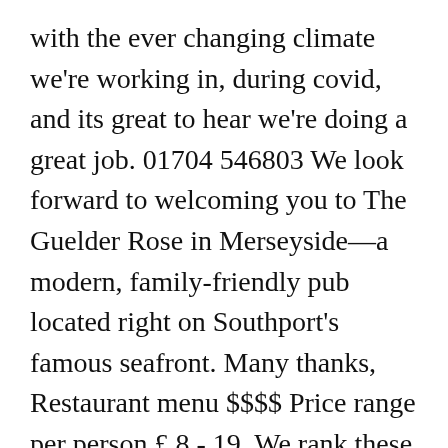with the ever changing climate we're working in, during covid, and its great to hear we're doing a great job. 01704 546803 We look forward to welcoming you to The Guelder Rose in Merseyside—a modern, family-friendly pub located right on Southport's famous seafront. Many thanks, Restaurant menu $$$$ Price range per person £ 8 - 19. We rank these hotels, restaurants, and attractions by balancing reviews from our members with how close they are to this location. View the current offers available at Guelder Rose. Clare, The staff were great. Everything felt safe and they were keeping everything clean. He did not have to do that but displayed both empathy and arofessionalism and didn't let it...